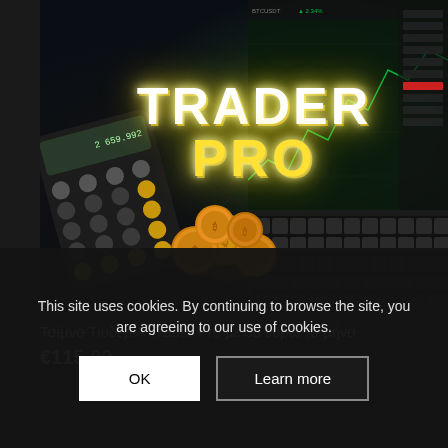[Figure (photo): Trading-themed photo showing a laptop with financial charts on screen, a calculator/phone showing 2,659,992, gold Bitcoin coins, and laptop keyboard. Yellow glowing text 'TRADER PRO' overlaid in center.]
Τσίμνο ΤιυδεριΆ Trader Pro με 38 ευρώ το μήνο
€115.00
This site uses cookies. By continuing to browse the site, you are agreeing to our use of cookies.